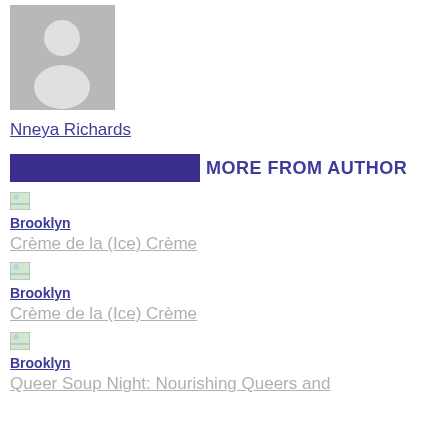[Figure (photo): Gray placeholder avatar photo of a person silhouette]
Nneya Richards
MORE FROM AUTHOR
[Figure (photo): Small broken/missing image thumbnail]
Brooklyn
Crème de la (Ice) Crème
[Figure (photo): Small broken/missing image thumbnail]
Brooklyn
Crème de la (Ice) Crème
[Figure (photo): Small broken/missing image thumbnail]
Brooklyn
Queer Soup Night: Nourishing Queers and